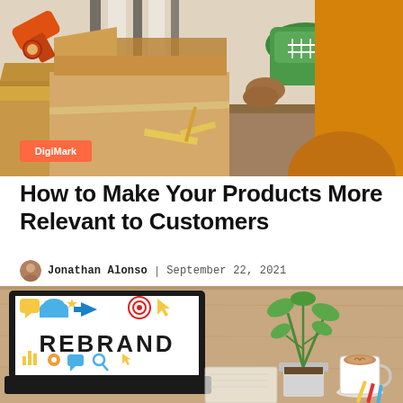[Figure (photo): Person in orange jacket unpacking green sneakers from a cardboard box, with tape gun visible, multiple shipping boxes on desk. DigiMark badge overlay in bottom left.]
How to Make Your Products More Relevant to Customers
Jonathan Alonso | September 22, 2021
[Figure (photo): Laptop screen displaying the word REBRAND with colorful icons and illustrations. On the right side of the desk: a green plant, a cup of coffee with latte art, and some pencils.]